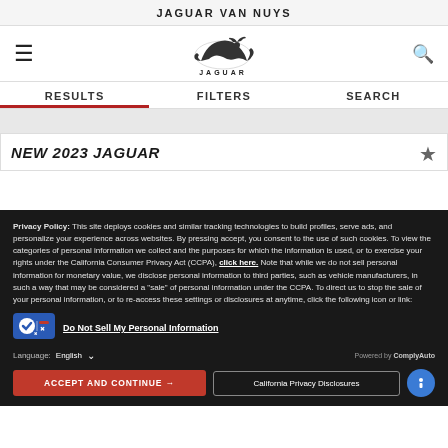JAGUAR VAN NUYS
[Figure (logo): Jaguar leaping cat logo with JAGUAR wordmark below]
RESULTS   FILTERS   SEARCH
NEW 2023 JAGUAR
Privacy Policy: This site deploys cookies and similar tracking technologies to build profiles, serve ads, and personalize your experience across websites. By pressing accept, you consent to the use of such cookies. To view the categories of personal information we collect and the purposes for which the information is used, or to exercise your rights under the California Consumer Privacy Act (CCPA), click here. Note that while we do not sell personal information for monetary value, we disclose personal information to third parties, such as vehicle manufacturers, in such a way that may be considered a "sale" of personal information under the CCPA. To direct us to stop the sale of your personal information, or to re-access these settings or disclosures at anytime, click the following icon or link:
Do Not Sell My Personal Information
Language: English
Powered by ComplyAuto
ACCEPT AND CONTINUE →
California Privacy Disclosures